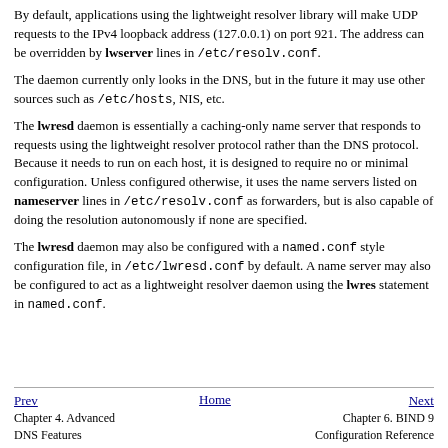By default, applications using the lightweight resolver library will make UDP requests to the IPv4 loopback address (127.0.0.1) on port 921. The address can be overridden by lwserver lines in /etc/resolv.conf.
The daemon currently only looks in the DNS, but in the future it may use other sources such as /etc/hosts, NIS, etc.
The lwresd daemon is essentially a caching-only name server that responds to requests using the lightweight resolver protocol rather than the DNS protocol. Because it needs to run on each host, it is designed to require no or minimal configuration. Unless configured otherwise, it uses the name servers listed on nameserver lines in /etc/resolv.conf as forwarders, but is also capable of doing the resolution autonomously if none are specified.
The lwresd daemon may also be configured with a named.conf style configuration file, in /etc/lwresd.conf by default. A name server may also be configured to act as a lightweight resolver daemon using the lwres statement in named.conf.
Prev | Home | Next | Chapter 4. Advanced DNS Features | Chapter 6. BIND 9 Configuration Reference